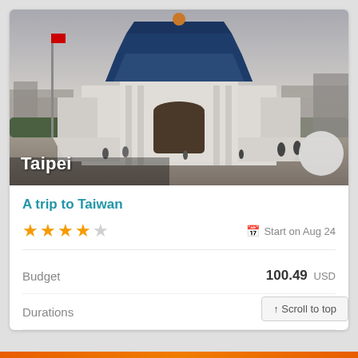[Figure (photo): Photo of Chiang Kai-shek Memorial Hall in Taipei, Taiwan with the monument building featuring blue roof and white walls, people walking in the plaza foreground]
Taipei
A trip to Taiwan
★★★★☆  Start on Aug 24
Budget  100.49 USD
Durations  4.0 days
↑ Scroll to top